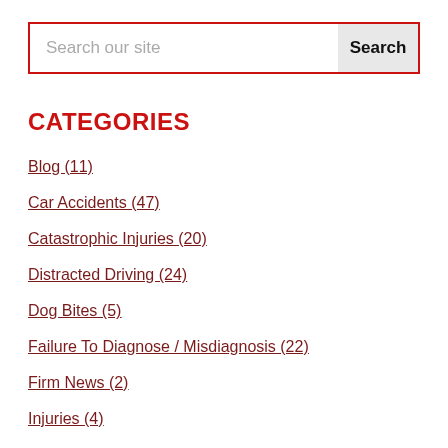[Figure (other): Search bar with red border, placeholder text 'Search our site' and a 'Search' button on the right]
CATEGORIES
Blog (11)
Car Accidents (47)
Catastrophic Injuries (20)
Distracted Driving (24)
Dog Bites (5)
Failure To Diagnose / Misdiagnosis (22)
Firm News (2)
Injuries (4)
Medical Malpractice (36)
Motor Vehicle Accidents (25)